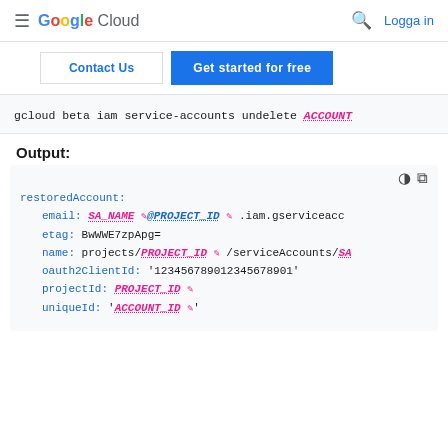Google Cloud — Logga in
Contact Us | Get started for free
gcloud beta iam service-accounts undelete ACCOUNT
Output:
restoredAccount:
  email: SA_NAME @PROJECT_ID .iam.gserviceacc
  etag: BwWWE7zpApg=
  name: projects/PROJECT_ID /serviceAccounts/SA
  oauth2ClientId: '123456789012345678901'
  projectId: PROJECT_ID
  uniqueId: 'ACCOUNT_ID'